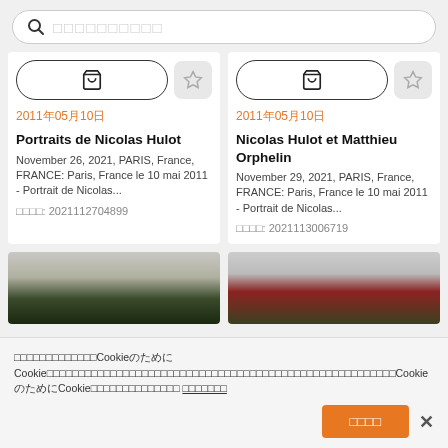[Figure (screenshot): Search bar with magnifying glass icon and placeholder text in CJK characters]
2011年05月10日
Portraits de Nicolas Hulot
November 26, 2021, PARIS, France, FRANCE: Paris, France le 10 mai 2011 - Portrait de Nicolas...
画像ID: 2021112704899
2011年05月10日
Nicolas Hulot et Matthieu Orphelin
November 29, 2021, PARIS, France, FRANCE: Paris, France le 10 mai 2011 - Portrait de Nicolas...
画像ID: 2021113006719
[Figure (photo): Partial photo showing dark green foliage/trees]
[Figure (photo): Partial photo showing red and green colors, possibly flags or outdoors]
当社のウェブサイトでCookieを使用してCookieに関する情報及び当社のウェブサイトでのお客様の行動についての情報を収集するために使用します。これらのCookieの詳細及びオプトアウト方法はこちら 詳細はこちら
同意する
×